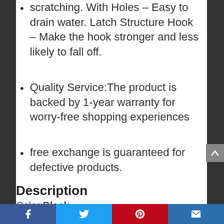scratching. With Holes – Easy to drain water. Latch Structure Hook – Make the hook stronger and less likely to fall off.
Quality Service:The product is backed by 1-year warranty for worry-free shopping experiences
free exchange is guaranteed for defective products.
Description
Color:Black